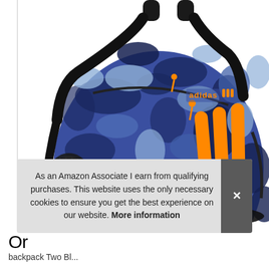[Figure (photo): Adidas backpack with blue camouflage pattern and orange three stripes, photographed on white background. The backpack has orange zipper pulls, a mesh side pocket, and the Adidas logo in orange on the front.]
As an Amazon Associate I earn from qualifying purchases. This website uses the only necessary cookies to ensure you get the best experience on our website. More information
Or
backpack Two Bl...